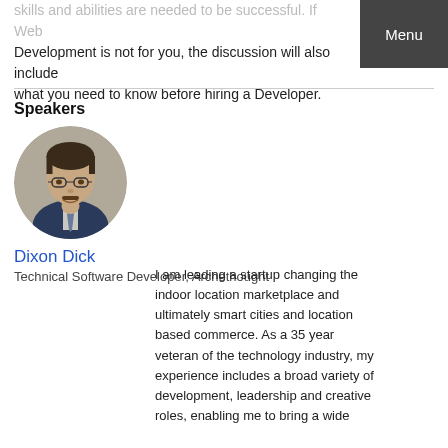skills and abilities are needed to be successful. If Web Development is not for you, the discussion will also include what you need to know before hiring a Developer.
Menu
Speakers
[Figure (photo): Circular headshot photo of Dixon Dick, a middle-aged man with glasses wearing a suit and tie.]
Dixon Dick
Technical Software Developer, Archethought
I am leading a startup changing the indoor location marketplace and ultimately smart cities and location based commerce. As a 35 year veteran of the technology industry, my experience includes a broad variety of development, leadership and creative roles, enabling me to bring a wide